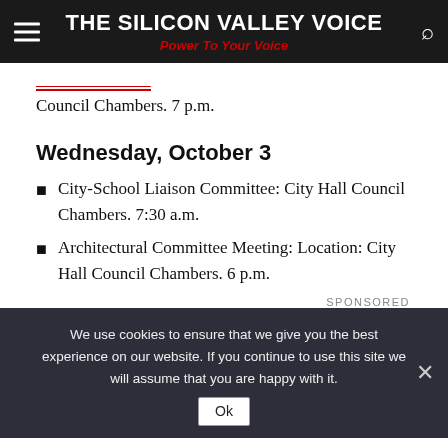THE SILICON VALLEY VOICE | Power To Your Voice
Council Chambers. 7 p.m.
Wednesday, October 3
City-School Liaison Committee: City Hall Council Chambers. 7:30 a.m.
Architectural Committee Meeting: Location: City Hall Council Chambers. 6 p.m.
SPONSORED
We use cookies to ensure that we give you the best experience on our website. If you continue to use this site we will assume that you are happy with it.